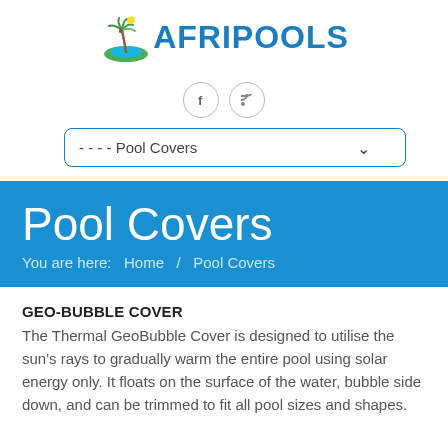[Figure (logo): Afripools logo with palm tree and pool graphic and stylized text AFRIPOOLS in blue]
[Figure (infographic): Two social media icon buttons: Facebook (f) and RSS feed icons in circular grey-bordered buttons]
- - - - Pool Covers
Pool Covers
You are here:   Home   /   Pool Covers
GEO-BUBBLE COVER
The Thermal GeoBubble Cover is designed to utilise the sun's rays to gradually warm the entire pool using solar energy only. It floats on the surface of the water, bubble side down, and can be trimmed to fit all pool sizes and shapes.